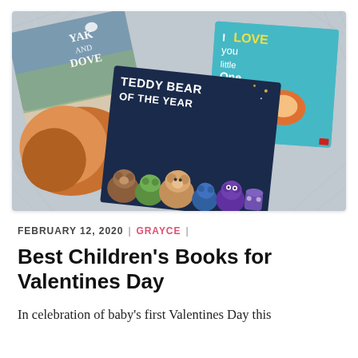[Figure (photo): Photo of three children's books arranged on a gray blanket: 'Yak and Dove', 'Teddy Bear of the Year', and 'I Love You Little One']
FEBRUARY 12, 2020  |  GRAYCE  |
Best Children's Books for Valentines Day
In celebration of baby's first Valentines Day this